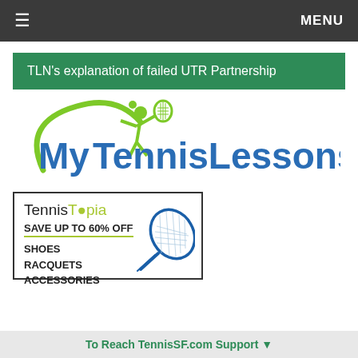≡  MENU
TLN's explanation of failed UTR Partnership
[Figure (logo): MyTennisLessons logo with green swoosh and tennis player figure, blue text reading 'MyTennisLessons']
[Figure (illustration): TennisTopia advertisement: 'SAVE UP TO 60% OFF' on SHOES, RACQUETS, ACCESSORIES with tennis racquet illustration]
To Reach TennisSF.com Support ▼